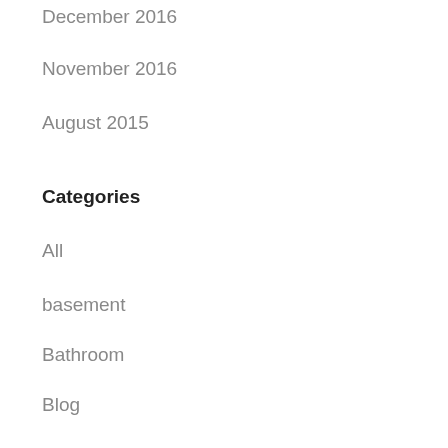December 2016
November 2016
August 2015
Categories
All
basement
Bathroom
Blog
Carpet
Flooring
General Design
Hardwood
Kitchen